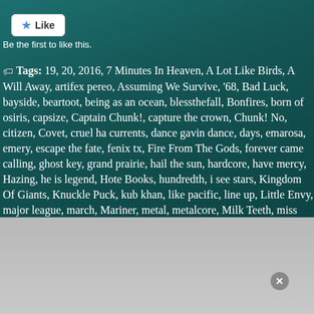[Figure (screenshot): Like button widget with star icon and white background]
Be the first to like this.
Tags: 19, 20, 2016, 7 Minutes In Heaven, A Lot Like Birds, A Will Away, artifex pereo, Assuming We Survive, '68, Bad Luck, bayside, beartooth, being as an ocean, blessthefall, Bonfires, born of osiris, capsize, Captain Chunk!, capture the crown, Chunk! No, citizen, Covet, cruel hand, currents, dance gavin dance, days, emarosa, emery, escape the fate, fenix tx, Fire From The Gods, forever came calling, ghost key, grand prairie, hail the sun, hardcore, have mercy, Hazing, he is legend, Hotel Books, hundredth, i see stars, Kingdom Of Giants, Knuckle Puck, kublai khan, like pacific, line up, Little Envy, major league, march, Mariner, metal, metalcore, Milk Teeth, miss may i, monuments, Movements, My Only Safe Haven, myka relocate, Neck Deep, new found glory, new years day, outline in color, picturesque, punk, QuikTrip Park, Radio City, rancid, real friends, saosin, Seasons Change, seaway, secrets, silent planet, silverstein, slaves, So What?! Music Festival, Sorority Noise, Speak Love If You Speak Love, state champs, stolas, stray from the path, The Cmdwn, the contortionist, the devil wears prada, the ongoing concept, the plot in you, the word alive, This Wild Life, Tides Of Man, Too Close To Touch, turnover, tx, Uh Huh Baby Yeah, under Dog House, und...
Advertisements
[Figure (screenshot): DuckDuckGo advertisement banner: Search, browse, and email with more privacy. All in One Free App.]